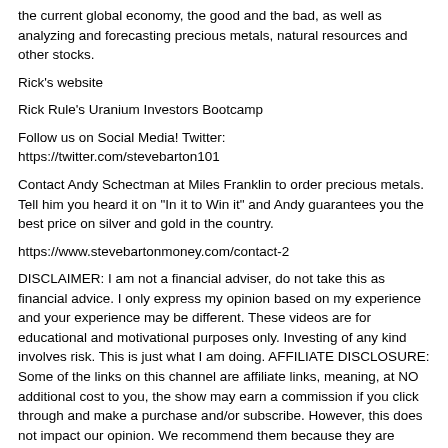the current global economy, the good and the bad, as well as analyzing and forecasting precious metals, natural resources and other stocks.
Rick's website
Rick Rule's Uranium Investors Bootcamp
Follow us on Social Media! Twitter: https://twitter.com/stevebarton101
Contact Andy Schectman at Miles Franklin to order precious metals. Tell him you heard it on "In it to Win it" and Andy guarantees you the best price on silver and gold in the country.
https://www.stevebartonmoney.com/contact-2
DISCLAIMER: I am not a financial adviser, do not take this as financial advice. I only express my opinion based on my experience and your experience may be different. These videos are for educational and motivational purposes only. Investing of any kind involves risk. This is just what I am doing. AFFILIATE DISCLOSURE: Some of the links on this channel are affiliate links, meaning, at NO additional cost to you, the show may earn a commission if you click through and make a purchase and/or subscribe. However, this does not impact our opinion. We recommend them because they are helpful and useful, not because we are looking for the small commission. economy forecast 2022, economy, money, investing, finance, poker, dividends, gold, silver, platinum, palladium, precious metals, crazy economic news, high energy costs, economy news, economy collapse, economy about to crash, trade deficit,